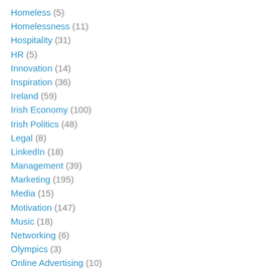Homeless (5)
Homelessness (11)
Hospitality (31)
HR (5)
Innovation (14)
Inspiration (36)
Ireland (59)
Irish Economy (100)
Irish Politics (48)
Legal (8)
LinkedIn (18)
Management (39)
Marketing (195)
Media (15)
Motivation (147)
Music (18)
Networking (6)
Olympics (3)
Online Advertising (10)
Packaging (7)